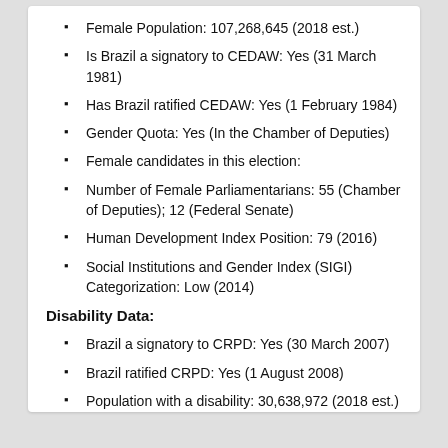Female Population: 107,268,645 (2018 est.)
Is Brazil a signatory to CEDAW: Yes (31 March 1981)
Has Brazil ratified CEDAW: Yes (1 February 1984)
Gender Quota: Yes (In the Chamber of Deputies)
Female candidates in this election:
Number of Female Parliamentarians: 55 (Chamber of Deputies); 12 (Federal Senate)
Human Development Index Position: 79 (2016)
Social Institutions and Gender Index (SIGI) Categorization: Low (2014)
Disability Data:
Brazil a signatory to CRPD: Yes (30 March 2007)
Brazil ratified CRPD: Yes (1 August 2008)
Population with a disability: 30,638,972 (2018 est.)